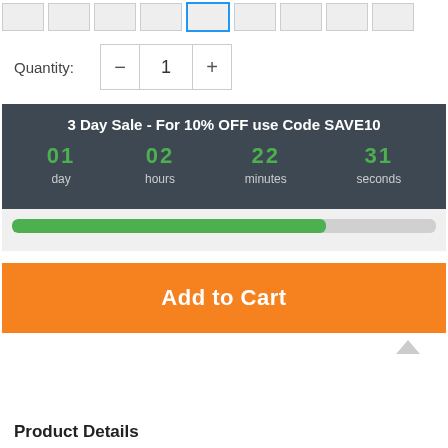[Figure (screenshot): Thumbnail image strip with 9 small product image placeholders, one highlighted with a blue border]
Quantity: 1
3 Day Sale - For 10% OFF use Code SAVE10
01 day  02 hours  22 minutes  31 seconds
[Figure (infographic): Green progress bar at approximately 74% fill on a gray background]
Add to Cart
Product Details